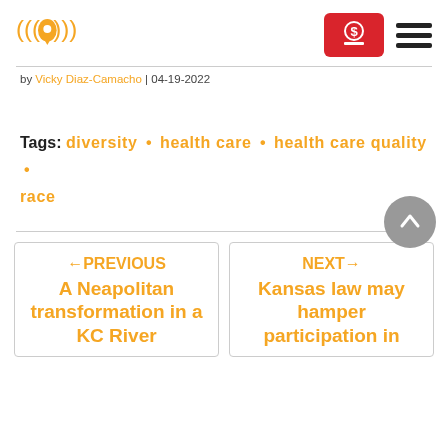Logo and navigation header
by Vicky Diaz-Camacho | 04-19-2022
Tags: diversity • health care • health care quality • race
←PREVIOUS A Neapolitan transformation in a KC River
NEXT→ Kansas law may hamper participation in